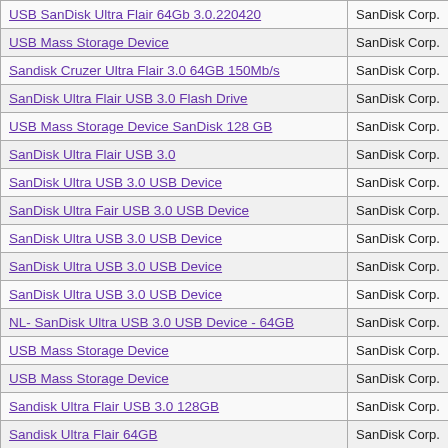| Product Name | Vendor |
| --- | --- |
| USB SanDisk Ultra Flair 64Gb 3.0.220420 | SanDisk Corp. |
| USB Mass Storage Device | SanDisk Corp. |
| Sandisk Cruzer Ultra Flair 3.0 64GB 150Mb/s | SanDisk Corp. |
| SanDisk Ultra Flair USB 3.0 Flash Drive | SanDisk Corp. |
| USB Mass Storage Device SanDisk 128 GB | SanDisk Corp. |
| SanDisk Ultra Flair USB 3.0 | SanDisk Corp. |
| SanDisk Ultra USB 3.0 USB Device | SanDisk Corp. |
| SanDisk Ultra Fair USB 3.0 USB Device | SanDisk Corp. |
| SanDisk Ultra USB 3.0 USB Device | SanDisk Corp. |
| SanDisk Ultra USB 3.0 USB Device | SanDisk Corp. |
| SanDisk Ultra USB 3.0 USB Device | SanDisk Corp. |
| NL- SanDisk Ultra USB 3.0 USB Device - 64GB | SanDisk Corp. |
| USB Mass Storage Device | SanDisk Corp. |
| USB Mass Storage Device | SanDisk Corp. |
| Sandisk Ultra Flair USB 3.0 128GB | SanDisk Corp. |
| Sandisk Ultra Flair 64GB | SanDisk Corp. |
| SanDisk Ultra USB 3.0 USB Device | SanDisk Corp. |